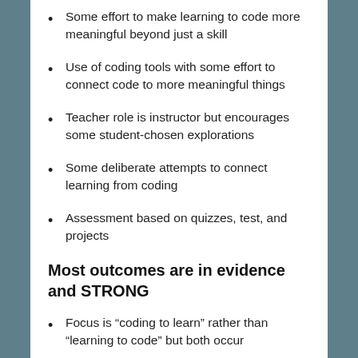Some effort to make learning to code more meaningful beyond just a skill
Use of coding tools with some effort to connect code to more meaningful things
Teacher role is instructor but encourages some student-chosen explorations
Some deliberate attempts to connect learning from coding
Assessment based on quizzes, test, and projects
Most outcomes are in evidence and STRONG
Focus is “coding to learn” rather than “learning to code” but both occur